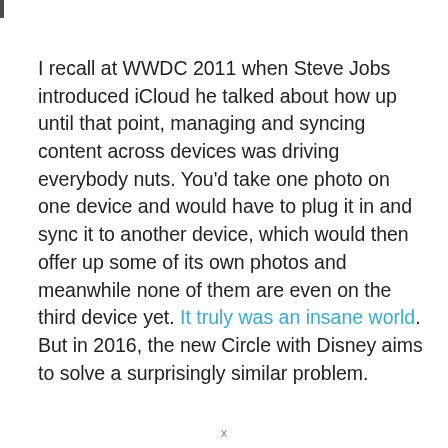|
I recall at WWDC 2011 when Steve Jobs introduced iCloud he talked about how up until that point, managing and syncing content across devices was driving everybody nuts. You'd take one photo on one device and would have to plug it in and sync it to another device, which would then offer up some of its own photos and meanwhile none of them are even on the third device yet. It truly was an insane world. But in 2016, the new Circle with Disney aims to solve a surprisingly similar problem.
x